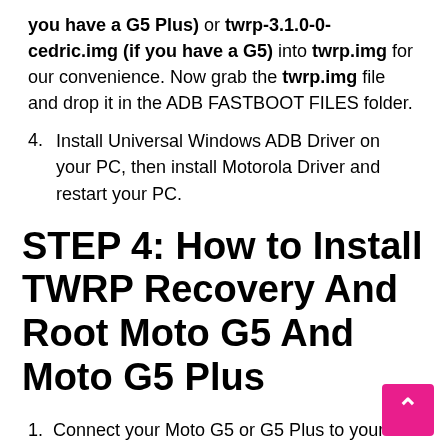you have a G5 Plus) or twrp-3.1.0-0-cedric.img (if you have a G5) into twrp.img for our convenience. Now grab the twrp.img file and drop it in the ADB FASTBOOT FILES folder.
4. Install Universal Windows ADB Driver on your PC, then install Motorola Driver and restart your PC.
STEP 4: How to Install TWRP Recovery And Root Moto G5 And Moto G5 Plus
1. Connect your Moto G5 or G5 Plus to your